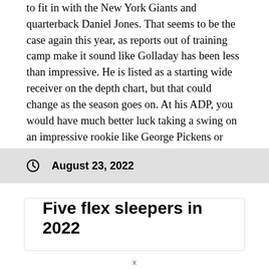to fit in with the New York Giants and quarterback Daniel Jones. That seems to be the case again this year, as reports out of training camp make it sound like Golladay has been less than impressive. He is listed as a starting wide receiver on the depth chart, but that could change as the season goes on. At his ADP, you would have much better luck taking a swing on an impressive rookie like George Pickens or Romeo Doubs.
August 23, 2022
Five flex sleepers in 2022